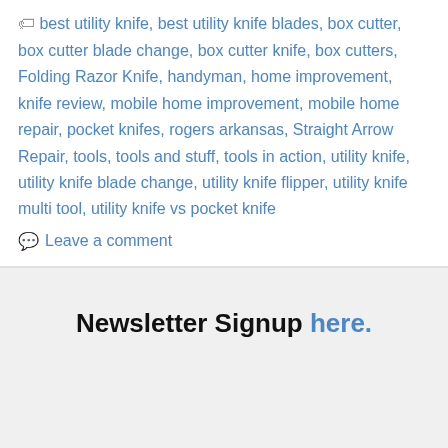🏷 best utility knife, best utility knife blades, box cutter, box cutter blade change, box cutter knife, box cutters, Folding Razor Knife, handyman, home improvement, knife review, mobile home improvement, mobile home repair, pocket knifes, rogers arkansas, Straight Arrow Repair, tools, tools and stuff, tools in action, utility knife, utility knife blade change, utility knife flipper, utility knife multi tool, utility knife vs pocket knife
💬 Leave a comment
Newsletter Signup here.